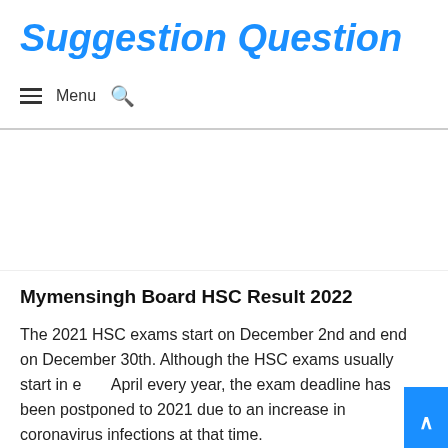Suggestion Question
Menu (hamburger icon + search icon)
[Figure (other): Advertisement/blank white area below navigation bar]
Mymensingh Board HSC Result 2022
The 2021 HSC exams start on December 2nd and end on December 30th. Although the HSC exams usually start in early April every year, the exam deadline has been postponed to 2021 due to an increase in coronavirus infections at that time.